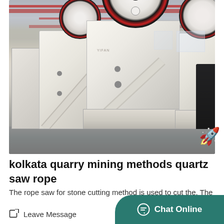[Figure (photo): Industrial jaw crushers in a factory/warehouse setting. Large white painted heavy machines with red and black flywheels arranged in rows on a concrete floor under steel roof structure.]
kolkata quarry mining methods quartz saw rope
The rope saw for stone cutting method is used to cut the. The rope saw for stone cutting machine is a s...
Leave Message
Chat Online